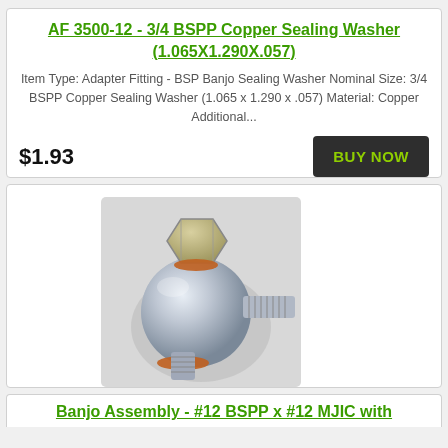AF 3500-12 - 3/4 BSPP Copper Sealing Washer (1.065X1.290X.057)
Item Type: Adapter Fitting - BSP Banjo Sealing Washer Nominal Size: 3/4 BSPP Copper Sealing Washer (1.065 x 1.290 x .057) Material: Copper Additional...
$1.93
[Figure (photo): Photo of a banjo hydraulic fitting assembly - a silver metal ball-shaped body with threaded male fittings, orange copper sealing washers visible on top and bottom]
Banjo Assembly - #12 BSPP x #12 MJIC with